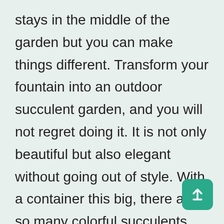stays in the middle of the garden but you can make things different. Transform your fountain into an outdoor succulent garden, and you will not regret doing it. It is not only beautiful but also elegant without going out of style. With a container this big, there are so many colorful succulents that you can arrange and plant. Even better, there is still room for flowers and other plants to adorn each other as well. Depending on the design and size of the fountain that you have, there are so many ways to fabricate this idea.